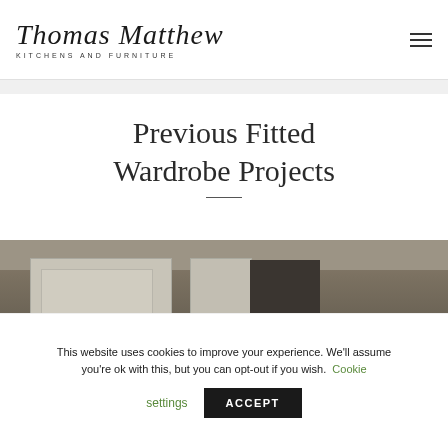Thomas Matthew Kitchens and Furniture
Previous Fitted Wardrobe Projects
[Figure (photo): Interior photo of fitted white wardrobe cabinets with panel doors against a neutral wall]
This website uses cookies to improve your experience. We'll assume you're ok with this, but you can opt-out if you wish. Cookie settings ACCEPT